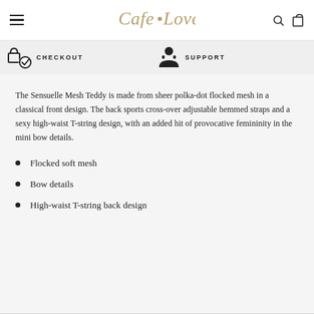Cafe Love — navigation header with hamburger menu, logo, search and bag icons
[Figure (infographic): Promo bar with checkout icon and CHECKOUT label, and support icon and SUPPORT label]
The Sensuelle Mesh Teddy is made from sheer polka-dot flocked mesh in a classical front design. The back sports cross-over adjustable hemmed straps and a sexy high-waist T-string design, with an added hit of provocative femininity in the mini bow details.
Flocked soft mesh
Bow details
High-waist T-string back design